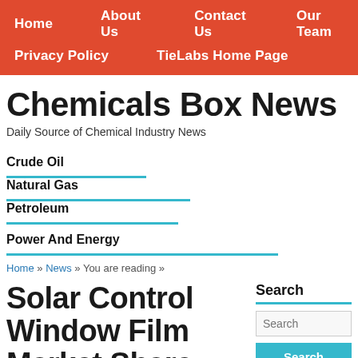Home   About Us   Contact Us   Our Team   Privacy Policy   TieLabs Home Page
Chemicals Box News
Daily Source of Chemical Industry News
Crude Oil   Natural Gas   Petroleum   Power And Energy
Home » News » You are reading »
Solar Control Window Film Market Share, Demand, Top
Search